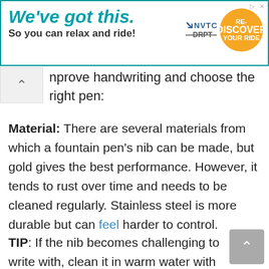[Figure (illustration): Advertisement banner for NVTC DRPT Re-DISCOVER YOUR RIDE transit service. Teal border. Left side: 'We've got this.' in teal italic bold, 'So you can relax and ride!' in dark bold. Right side: NVTC logo above strikethrough DRPT text, and an orange circular badge reading 'Re-DISCOVER YOUR RIDE'.]
nprove handwriting and choose the right pen:
Material: There are several materials from which a fountain pen's nib can be made, but gold gives the best performance. However, it tends to rust over time and needs to be cleaned regularly. Stainless steel is more durable but can feel harder to control.
TIP: If the nib becomes challenging to write with, clean it in warm water with a